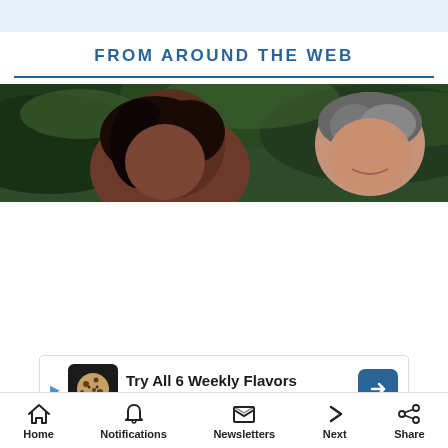FROM AROUND THE WEB
[Figure (photo): Two people outdoors partially visible — a woman with dark hair and a man with short grey hair, surrounded by green foliage]
Try All 6 Weekly Flavors
Crumbl Cookies - Ashburn
Home   Notifications   Newsletters   Next   Share